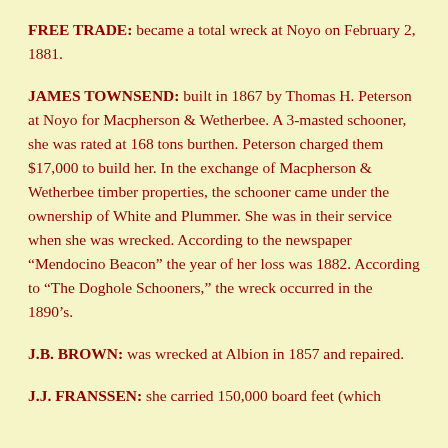FREE TRADE: became a total wreck at Noyo on February 2, 1881.
JAMES TOWNSEND: built in 1867 by Thomas H. Peterson at Noyo for Macpherson & Wetherbee. A 3-masted schooner, she was rated at 168 tons burthen. Peterson charged them $17,000 to build her. In the exchange of Macpherson & Wetherbee timber properties, the schooner came under the ownership of White and Plummer. She was in their service when she was wrecked. According to the newspaper “Mendocino Beacon” the year of her loss was 1882. According to “The Doghole Schooners,” the wreck occurred in the 1890’s.
J.B. BROWN: was wrecked at Albion in 1857 and repaired.
J.J. FRANSSEN: she carried 150,000 board feet (which